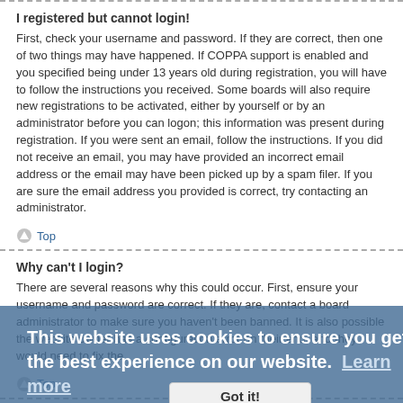I registered but cannot login!
First, check your username and password. If they are correct, then one of two things may have happened. If COPPA support is enabled and you specified being under 13 years old during registration, you will have to follow the instructions you received. Some boards will also require new registrations to be activated, either by yourself or by an administrator before you can logon; this information was present during registration. If you were sent an email, follow the instructions. If you did not receive an email, you may have provided an incorrect email address or the email may have been picked up by a spam filer. If you are sure the email address you provided is correct, try contacting an administrator.
Top
Why can't I login?
There are several reasons why this could occur. First, ensure your username and password are correct. If they are, contact a board administrator to make sure you haven't been banned. It is also possible the website owner has a configuration error on their end, and they would need to fix the
Top
I registered in the past but cannot login any more?!
It is possible an administrator has deactivated or deleted your account for some reason. Also, many boards periodically remove users who have not posted for a long time to reduce the size of the database. If this has happened, try registering
[Figure (other): Cookie consent banner overlay reading: This website uses cookies to ensure you get the best experience on our website. Learn more — with a Got it! button]